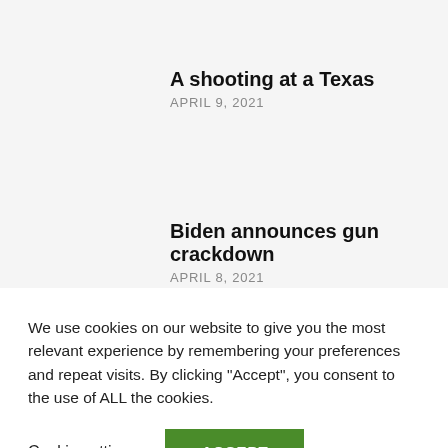A shooting at a Texas
APRIL 9, 2021
Biden announces gun crackdown
APRIL 8, 2021
We use cookies on our website to give you the most relevant experience by remembering your preferences and repeat visits. By clicking “Accept”, you consent to the use of ALL the cookies.
Cookie settings
ACCEPT